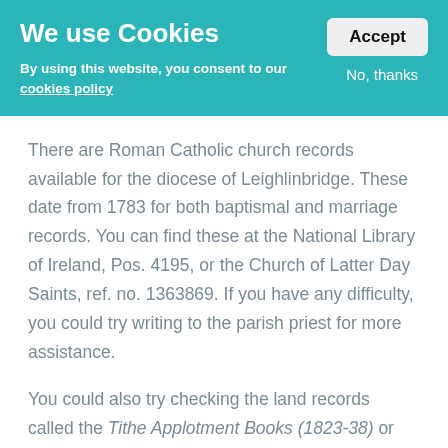We use Cookies
By using this website, you consent to our cookies policy
Accept
No, thanks
There are Roman Catholic church records available for the diocese of Leighlinbridge. These date from 1783 for both baptismal and marriage records. You can find these at the National Library of Ireland, Pos. 4195, or the Church of Latter Day Saints, ref. no. 1363869. If you have any difficulty, you could try writing to the parish priest for more assistance.
You could also try checking the land records called the Tithe Applotment Books (1823-38) or